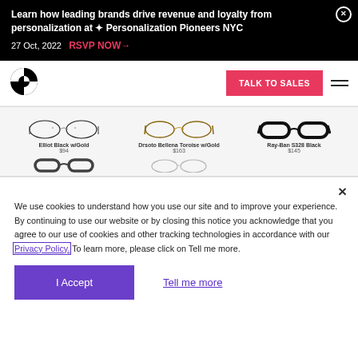Learn how leading brands drive revenue and loyalty from personalization at ✦ Personalization Pioneers NYC
27 Oct, 2022   RSVP NOW→
[Figure (logo): Quarter-circle black and white logo]
TALK TO SALES
[Figure (screenshot): Product showcase showing three glasses: Elliot Black w/Gold $94, Drsoto Bellena Toroise w/Gold $163, Ray-Ban S328 Black $145, with partial second row of products]
We use cookies to understand how you use our site and to improve your experience. By continuing to use our website or by closing this notice you acknowledge that you agree to our use of cookies and other tracking technologies in accordance with our Privacy Policy. To learn more, please click on Tell me more.
I Accept
Tell me more